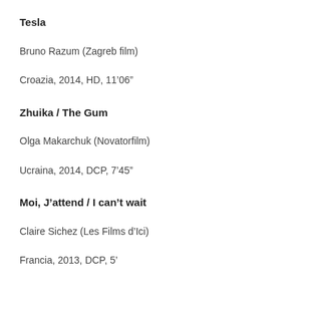Tesla
Bruno Razum (Zagreb film)
Croazia, 2014, HD, 11’06”
Zhuika / The Gum
Olga Makarchuk (Novatorfilm)
Ucraina, 2014, DCP, 7’45”
Moi, J’attend / I can’t wait
Claire Sichez (Les Films d’Ici)
Francia, 2013, DCP, 5’